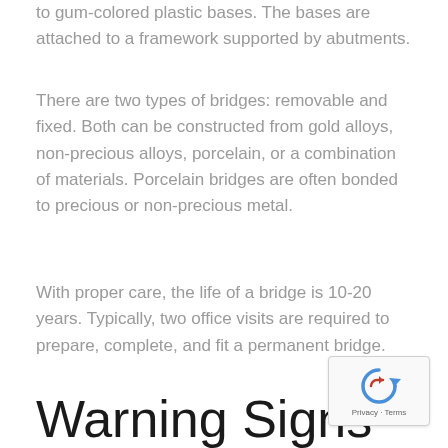to gum-colored plastic bases. The bases are attached to a framework supported by abutments.
There are two types of bridges: removable and fixed. Both can be constructed from gold alloys, non-precious alloys, porcelain, or a combination of materials. Porcelain bridges are often bonded to precious or non-precious metal.
With proper care, the life of a bridge is 10-20 years. Typically, two office visits are required to prepare, complete, and fit a permanent bridge.
Warning Signs
[Figure (logo): reCAPTCHA badge with recycling arrow logo and Privacy - Terms text]